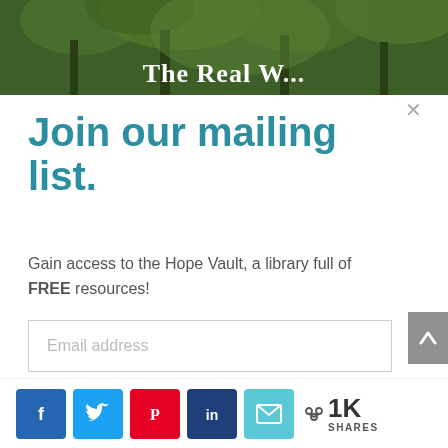[Figure (photo): Partial view of a nature/forest background image with green foliage and overlaid text 'The Real W...' (truncated)]
Join our mailing list.
Gain access to the Hope Vault, a library full of FREE resources!
Email address
JOIN TODAY!
< 1K SHARES